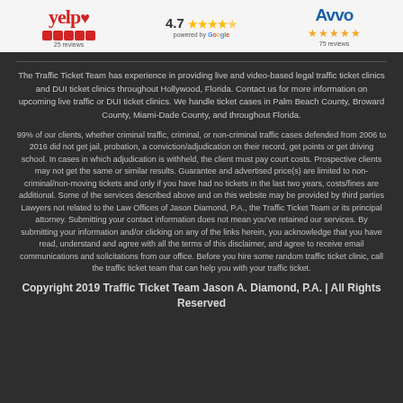[Figure (logo): Review badges header: Yelp logo with 5 red star squares and 25 reviews, Google 4.7 rating with 4.5 stars 'powered by Google', Avvo logo with 5 orange stars and 75 reviews]
The Traffic Ticket Team has experience in providing live and video-based legal traffic ticket clinics and DUI ticket clinics throughout Hollywood, Florida. Contact us for more information on upcoming live traffic or DUI ticket clinics. We handle ticket cases in Palm Beach County, Broward County, Miami-Dade County, and throughout Florida.
99% of our clients, whether criminal traffic, criminal, or non-criminal traffic cases defended from 2006 to 2016 did not get jail, probation, a conviction/adjudication on their record, get points or get driving school. In cases in which adjudication is withheld, the client must pay court costs. Prospective clients may not get the same or similar results. Guarantee and advertised price(s) are limited to non-criminal/non-moving tickets and only if you have had no tickets in the last two years, costs/fines are additional. Some of the services described above and on this website may be provided by third parties Lawyers not related to the Law Offices of Jason Diamond, P.A., the Traffic Ticket Team or its principal attorney. Submitting your contact information does not mean you've retained our services. By submitting your information and/or clicking on any of the links herein, you acknowledge that you have read, understand and agree with all the terms of this disclaimer, and agree to receive email communications and solicitations from our office. Before you hire some random traffic ticket clinic, call the traffic ticket team that can help you with your traffic ticket.
Copyright 2019 Traffic Ticket Team Jason A. Diamond, P.A. | All Rights Reserved